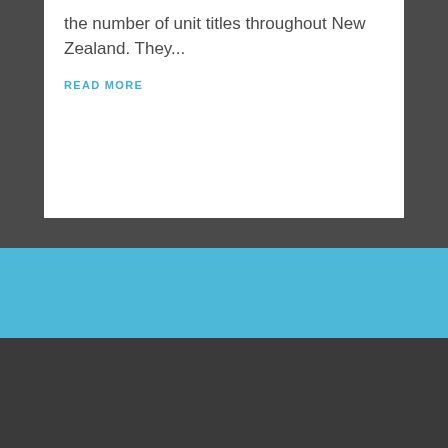the number of unit titles throughout New Zealand. They...
READ MORE
[Figure (logo): Small cyan stylized logo icon (looks like a circular arrow or leaf shape)]
Contact Us